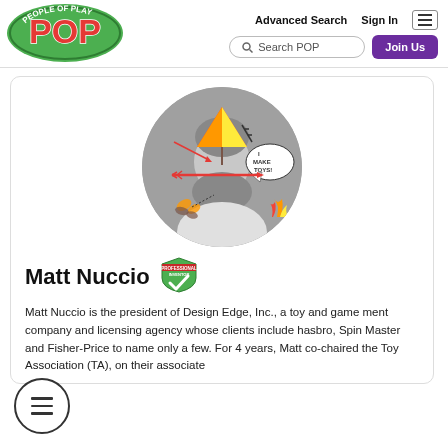People of Play (POP) — Advanced Search  Sign In  Search POP  Join Us
[Figure (photo): Circular profile photo of Matt Nuccio in black and white with colorful illustrated overlays: a beach umbrella, arrows, a speech bubble saying 'I MAKE TOYS!', flames, and a butterfly.]
Matt Nuccio
[Figure (logo): Professional Inventor badge — green shield with checkmark and text 'PROFESSIONAL INVENTOR']
Matt Nuccio is the president of Design Edge, Inc., a toy and game ment company and licensing agency whose clients include hasbro, Spin Master and Fisher-Price to name only a few. For 4 years, Matt co-chaired the Toy Association (TA), on their associate